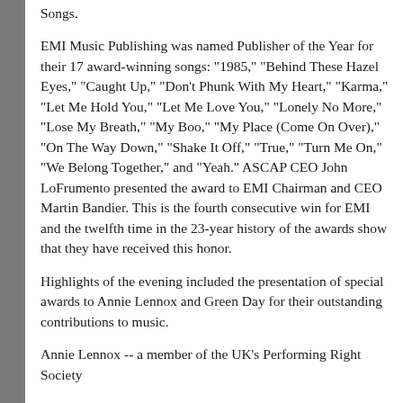Songs.
EMI Music Publishing was named Publisher of the Year for their 17 award-winning songs: "1985," "Behind These Hazel Eyes," "Caught Up," "Don't Phunk With My Heart," "Karma," "Let Me Hold You," "Let Me Love You," "Lonely No More," "Lose My Breath," "My Boo," "My Place (Come On Over)," "On The Way Down," "Shake It Off," "True," "Turn Me On," "We Belong Together," and "Yeah." ASCAP CEO John LoFrumento presented the award to EMI Chairman and CEO Martin Bandier. This is the fourth consecutive win for EMI and the twelfth time in the 23-year history of the awards show that they have received this honor.
Highlights of the evening included the presentation of special awards to Annie Lennox and Green Day for their outstanding contributions to music.
Annie Lennox -- a member of the UK's Performing Right Society